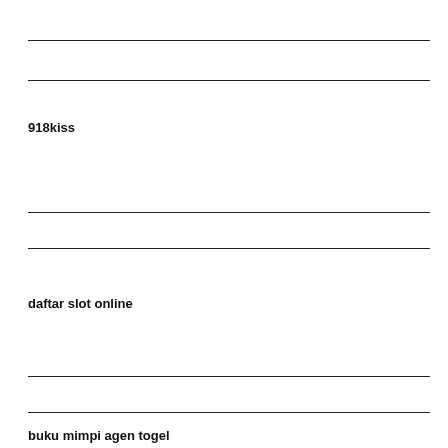918kiss
daftar slot online
buku mimpi agen togel